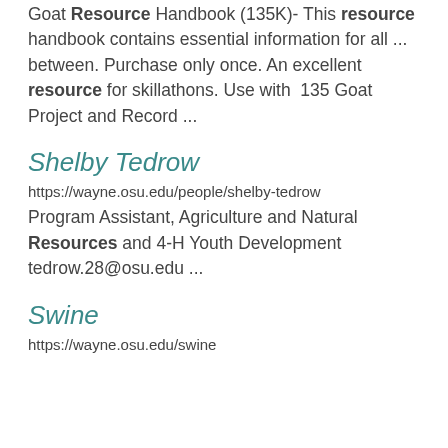Goat Resource Handbook (135K)- This resource handbook contains essential information for all ... between. Purchase only once. An excellent resource for skillathons. Use with 135 Goat Project and Record ...
Shelby Tedrow
https://wayne.osu.edu/people/shelby-tedrow
Program Assistant, Agriculture and Natural Resources and 4-H Youth Development tedrow.28@osu.edu ...
Swine
https://wayne.osu.edu/swine